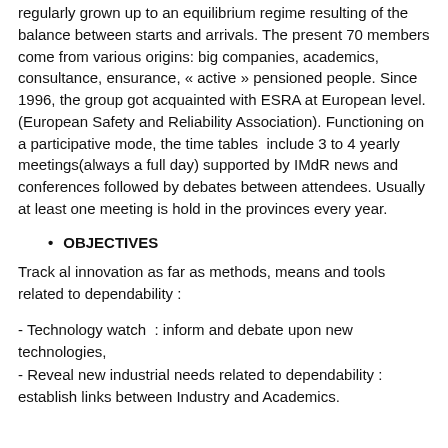regularly grown up to an equilibrium regime resulting of the balance between starts and arrivals. The present 70 members come from various origins: big companies, academics, consultance, ensurance, « active » pensioned people. Since 1996, the group got acquainted with ESRA at European level. (European Safety and Reliability Association). Functioning on a participative mode, the time tables include 3 to 4 yearly meetings(always a full day) supported by IMdR news and conferences followed by debates between attendees. Usually at least one meeting is hold in the provinces every year.
OBJECTIVES
Track al innovation as far as methods, means and tools related to dependability :
- Technology watch : inform and debate upon new technologies,
- Reveal new industrial needs related to dependability : establish links between Industry and Academics.